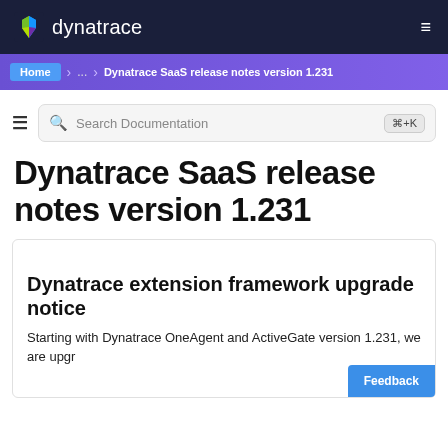dynatrace
Home > ... > Dynatrace SaaS release notes version 1.231
Search Documentation ⌘+K
Dynatrace SaaS release notes version 1.231
Dynatrace extension framework upgrade notice
Starting with Dynatrace OneAgent and ActiveGate version 1.231, we are upgrading...